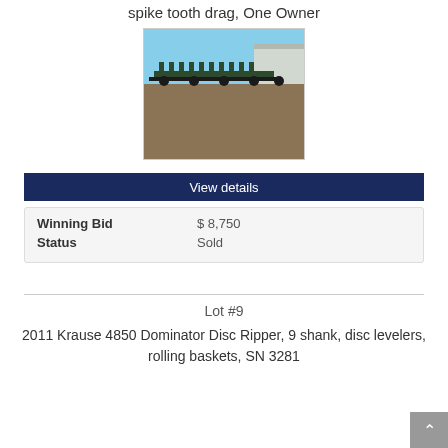spike tooth drag, One Owner
[Figure (photo): Photograph of a farm implement (disc ripper/drag) parked outdoors on dirt ground with a building in background under blue sky]
View details
| Winning Bid | $ 8,750 |
| Status | Sold |
Lot #9
2011 Krause 4850 Dominator Disc Ripper, 9 shank, disc levelers, rolling baskets, SN 3281